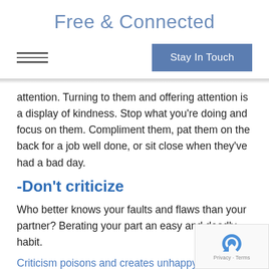Free & Connected
[Figure (screenshot): Navigation bar with hamburger menu icon and 'Stay In Touch' button]
attention. Turning to them and offering attention is a display of kindness. Stop what you're doing and focus on them. Compliment them, pat them on the back for a job well done, or sit close when they've had a bad day.
-Don't criticize
Who better knows your faults and flaws than your partner? Berating your part an easy and deadly habit.
Criticism poisons and creates unhappy